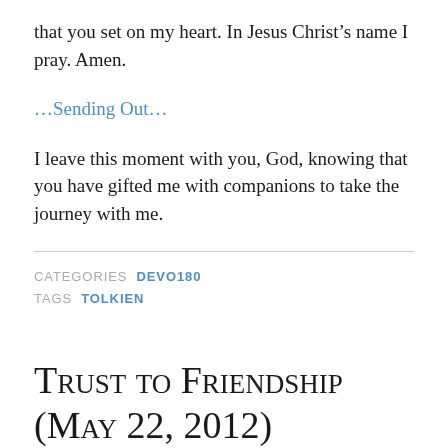that you set on my heart. In Jesus Christ’s name I pray. Amen.
…Sending Out…
I leave this moment with you, God, knowing that you have gifted me with companions to take the journey with me.
CATEGORIES  DEVO180
TAGS  TOLKIEN
Trust to Friendship (May 22, 2012)